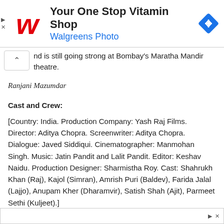[Figure (other): Walgreens advertisement banner: 'Your One Stop Vitamin Shop' with Walgreens Photo logo and navigation icon]
nd is still going strong at Bombay's Maratha Mandir theatre.
Ranjani Mazumdar
Cast and Crew:
[Country: India. Production Company: Yash Raj Films. Director: Aditya Chopra. Screenwriter: Aditya Chopra. Dialogue: Javed Siddiqui. Cinematographer: Manmohan Singh. Music: Jatin Pandit and Lalit Pandit. Editor: Keshav Naidu. Production Designer: Sharmistha Roy. Cast: Shahrukh Khan (Raj), Kajol (Simran), Amrish Puri (Baldev), Farida Jalal (Lajjo), Anupam Kher (Dharamvir), Satish Shah (Ajit), Parmeet Sethi (Kuljeet).]
[Figure (other): Bottom advertisement bar with play and close icons]